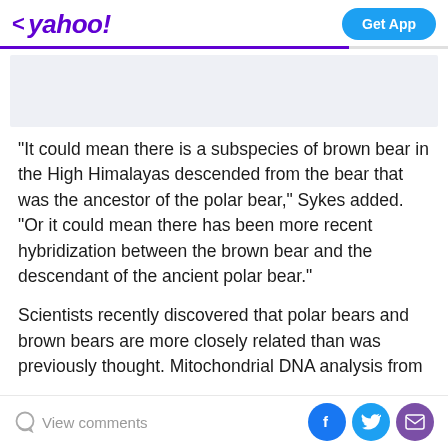< yahoo!  Get App
[Figure (other): Advertisement placeholder banner, light gray-blue background]
"It could mean there is a subspecies of brown bear in the High Himalayas descended from the bear that was the ancestor of the polar bear," Sykes added. "Or it could mean there has been more recent hybridization between the brown bear and the descendant of the ancient polar bear."
Scientists recently discovered that polar bears and brown bears are more closely related than was previously thought. Mitochondrial DNA analysis from
View comments